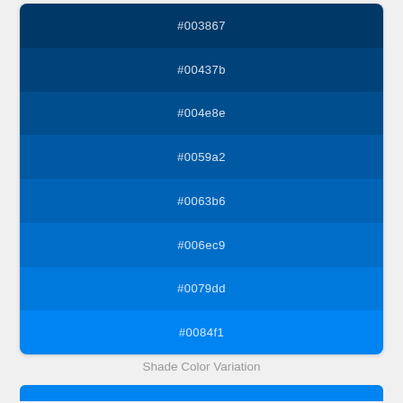[Figure (infographic): Color swatch strip showing 8 shades of blue from dark (#003867) to bright (#0084f1), each labeled with its hex code in white text]
Shade Color Variation